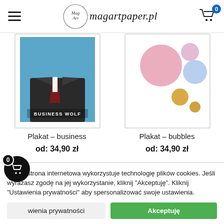magartpaper.pl
[Figure (photo): Product image: framed poster 'Business Wolf' showing a wolf in a suit on blue background with text BUSINESS WOLF]
[Figure (photo): Product image: framed poster with colorful bubbles (pink and gold) on white background]
Plakat – business
Plakat – bubbles
od: 34,90 zł
od: 34,90 zł
Nasza strona internetowa wykorzystuje technologię plików cookies. Jeśli wyrażasz zgodę na jej wykorzystanie, kliknij "Akceptuję". Kliknij "Ustawienia prywatności" aby spersonalizować swoje ustawienia.
wienia prywatności
Akceptuję